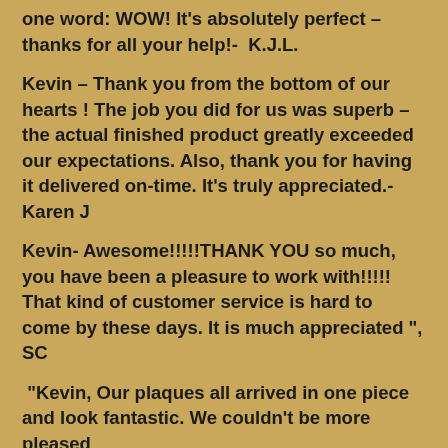one word: WOW! It's absolutely perfect – thanks for all your help!-  K.J.L.
Kevin – Thank you from the bottom of our hearts ! The job you did for us was superb – the actual finished product greatly exceeded our expectations. Also, thank you for having it delivered on-time. It's truly appreciated.-  Karen J
Kevin- Awesome!!!!!THANK YOU so much, you have been a pleasure to work with!!!!! That kind of customer service is hard to come by these days. It is much appreciated ", SC
"Kevin, Our plaques all arrived in one piece and look fantastic. We couldn't be more pleased